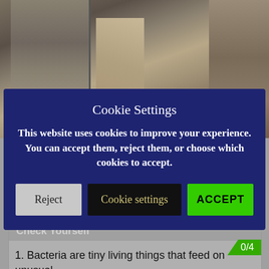[Figure (photo): Stone wall/pillar photo background, showing stacked stone textures in grey and beige tones]
Cookie Settings
This website uses cookies to improve your experience. You can accept them, reject them, or choose which cookies to accept.
Reject | Cookie settings | ACCEPT
Check Yourself
0/4
1. Bacteria are tiny living things that feed on unusual "foods".